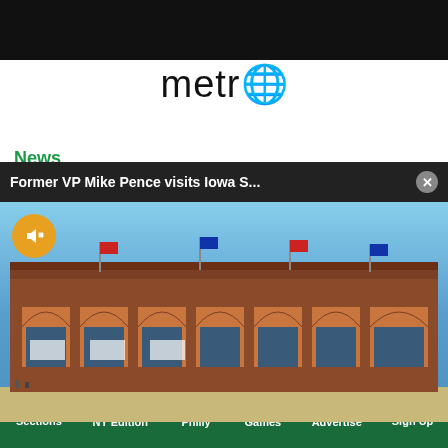metro
News
Immersed in crisis, Peru 's
[Figure (screenshot): Popup overlay showing 'Former VP Mike Pence visits Iowa S...' with a close button (X) and a photo of a large brick building (stadium/arena) with blue sky and flags, with a mute button in the top left]
ments   Posted on June 2, 2022
Sections   NY Edition   Philly   Games   Advertise   Sign Up